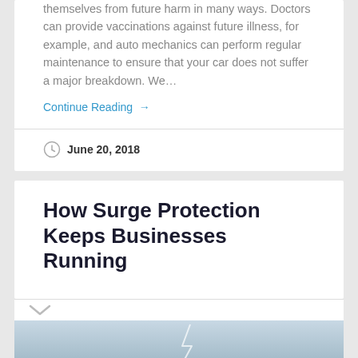themselves from future harm in many ways. Doctors can provide vaccinations against future illness, for example, and auto mechanics can perform regular maintenance to ensure that your car does not suffer a major breakdown. We…
Continue Reading →
June 20, 2018
How Surge Protection Keeps Businesses Running
[Figure (photo): Partially visible image, appears to show a stormy or electrical scene, cropped at bottom of page.]